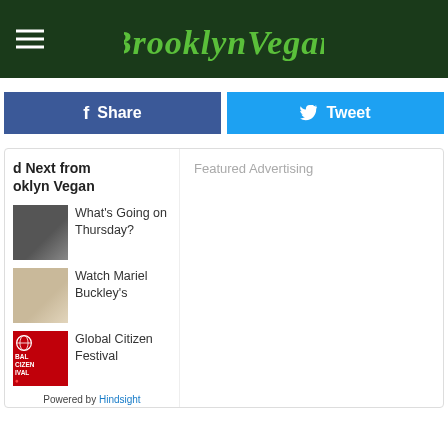BrooklynVegan
Share
Tweet
Read Next from Brooklyn Vegan
Featured Advertising
What's Going on Thursday?
Watch Mariel Buckley's
Global Citizen Festival
Powered by Hindsight